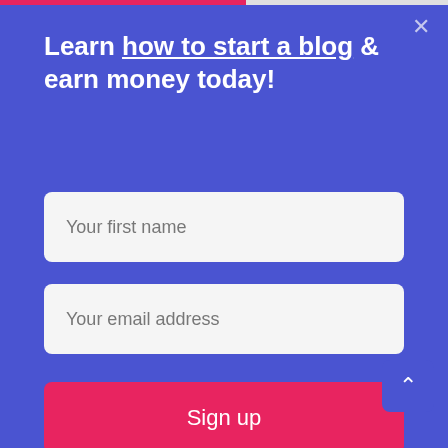[Figure (screenshot): Website modal popup with blue background. Contains title 'Learn how to start a blog & earn money today!', two input fields ('Your first name' and 'Your email address'), and a red 'Sign up' button.]
Travel blogs
Photography blogs
Beauty blogs
Music blogs
The first step you'll need to take is registering a